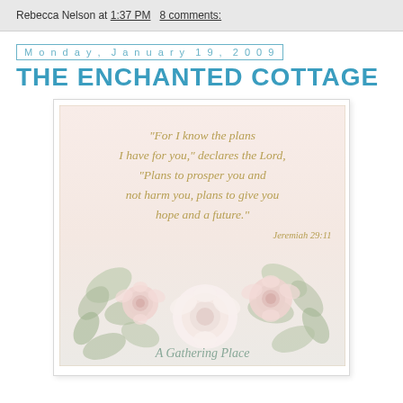Rebecca Nelson at 1:37 PM   8 comments:
Monday, January 19, 2009
THE ENCHANTED COTTAGE
[Figure (illustration): Decorative scripture card with pink roses and greenery on a soft pink background, featuring a Bible verse from Jeremiah 29:11 in cursive gold script, with 'A Gathering Place' at the bottom.]